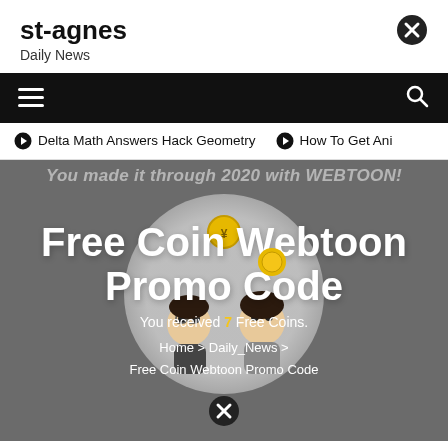st-agnes
Daily News
Delta Math Answers Hack Geometry   How To Get Ani
Free Coin Webtoon Promo Code
You received 7 Free Coins.
Home > Daily_News > Free Coin Webtoon Promo Code